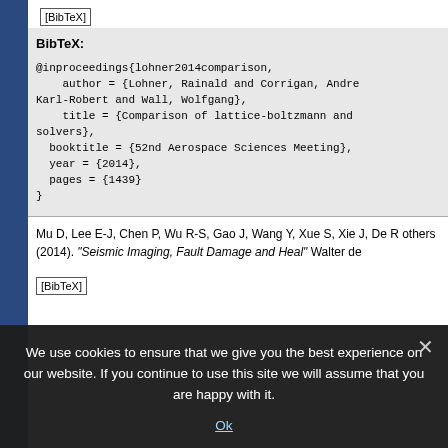[BibTeX]
BibTeX:
@inproceedings{lohner2014comparison,
    author = {Lohner, Rainald and Corrigan, Andre
Karl-Robert and Wall, Wolfgang},
    title = {Comparison of lattice-boltzmann and
solvers},
  booktitle = {52nd Aerospace Sciences Meeting},
  year = {2014},
  pages = {1439}
}
Mu D, Lee E-J, Chen P, Wu R-S, Gao J, Wang Y, Xue S, Xie J, De R others (2014). "Seismic Imaging, Fault Damage and Heal" Walter de
[BibTeX]
We use cookies to ensure that we give you the best experience on our website. If you continue to use this site we will assume that you are happy with it.
Ok